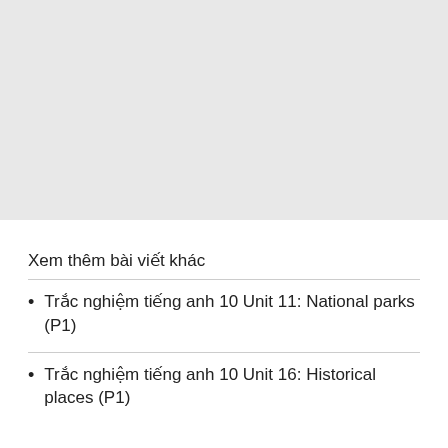[Figure (other): Gray rectangular placeholder area at the top of the page]
Xem thêm bài viết khác
Trắc nghiệm tiếng anh 10 Unit 11: National parks (P1)
Trắc nghiệm tiếng anh 10 Unit 16: Historical places (P1)